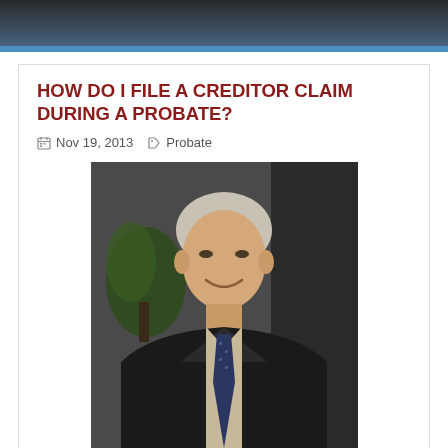HOW DO I FILE A CREDITOR CLAIM DURING A PROBATE?
Nov 19, 2013   Probate
[Figure (photo): Professional headshot of a man in a dark suit with a striped tie, smiling, with a plant visible in the background]